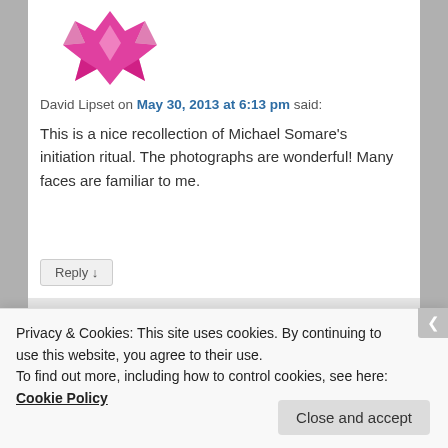[Figure (logo): Pink/magenta geometric star/diamond logo icon for user avatar]
David Lipset on May 30, 2013 at 6:13 pm said:
This is a nice recollection of Michael Somare's initiation ritual. The photographs are wonderful! Many faces are familiar to me.
Reply ↓
[Figure (photo): Small avatar photo of Veronica Peek in a garden with pink flowers]
Veronica Peek on June 3, 2013 at 3:30 am said:
Thanks David. If you can identify anybody
Privacy & Cookies: This site uses cookies. By continuing to use this website, you agree to their use.
To find out more, including how to control cookies, see here: Cookie Policy
Close and accept